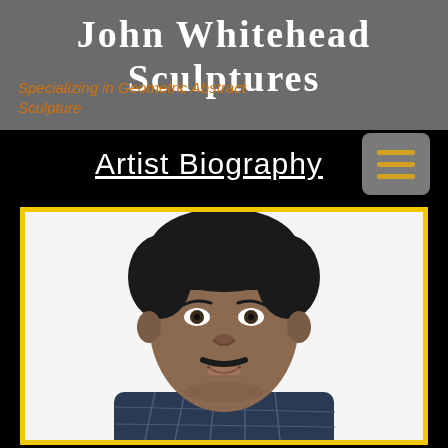John Whitehead Sculptures
Specializing in Geometric Abstract Sculpture
Artist Biography
[Figure (photo): Portrait photo of John Whitehead, a middle-aged man with dark hair and a mustache, wearing a navy blue plaid shirt, smiling slightly against a white background. The photo is framed with a yellow border.]